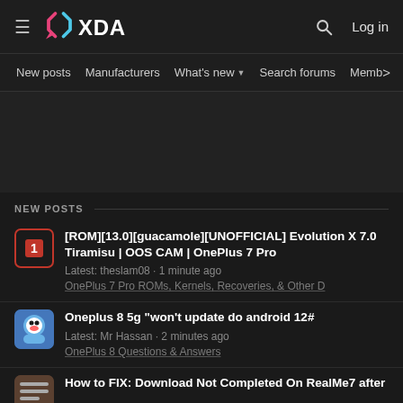XDA Developers — hamburger menu, logo, search, Log in
New posts | Manufacturers | What's new | Search forums | Membe | >
[Figure (other): Advertisement placeholder area]
NEW POSTS
[ROM][13.0][guacamole][UNOFFICIAL] Evolution X 7.0 Tiramisu | OOS CAM | OnePlus 7 Pro
Latest: theslam08 · 1 minute ago
OnePlus 7 Pro ROMs, Kernels, Recoveries, & Other D
Oneplus 8 5g "won't update do android 12#
Latest: Mr Hassan · 2 minutes ago
OnePlus 8 Questions & Answers
How to FIX: Download Not Completed On RealMe7 after